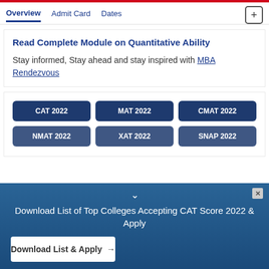Overview | Admit Card | Dates
Read Complete Module on Quantitative Ability
Stay informed, Stay ahead and stay inspired with MBA Rendezvous
CAT 2022
MAT 2022
CMAT 2022
NMAT 2022
XAT 2022
SNAP 2022
Download List of Top Colleges Accepting CAT Score 2022 & Apply
Download List & Apply →